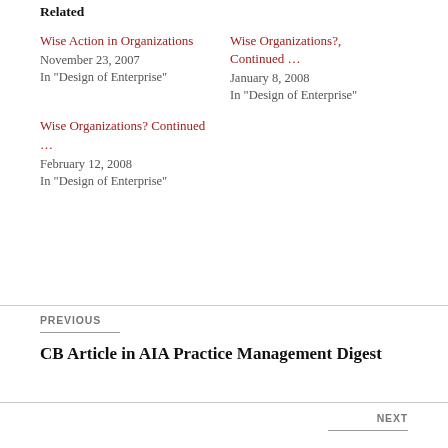Related
Wise Action in Organizations
November 23, 2007
In "Design of Enterprise"
Wise Organizations?, Continued …
January 8, 2008
In "Design of Enterprise"
Wise Organizations? Continued …
February 12, 2008
In "Design of Enterprise"
PREVIOUS
CB Article in AIA Practice Management Digest
NEXT